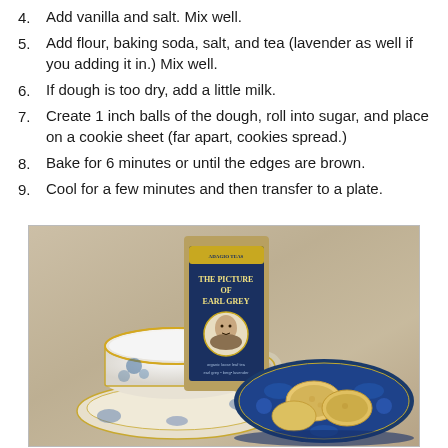4. Add vanilla and salt. Mix well.
5. Add flour, baking soda, salt, and tea (lavender as well if you adding it in.) Mix well.
6. If dough is too dry, add a little milk.
7. Create 1 inch balls of the dough, roll into sugar, and place on a cookie sheet (far apart, cookies spread.)
8. Bake for 6 minutes or until the edges are brown.
9. Cool for a few minutes and then transfer to a plate.
[Figure (photo): Photo of a cup of milk with a floral china teacup and saucer, a blue decorative plate with cookies, and a package of 'The Picture of Earl Grey' tea in the background, all on a grey surface.]